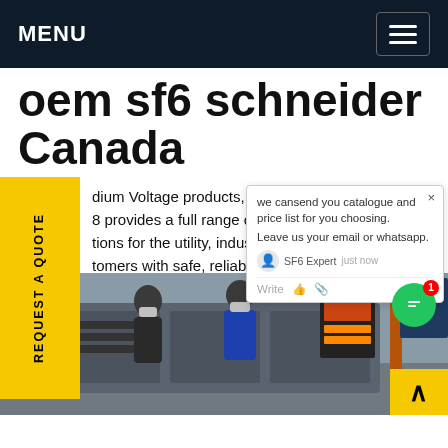MENU
oem sf6 schneider Canada
dium Voltage products, solutions s. 8 provides a full range of medium tions for the utility, industrial and al tomers with safe, reliable and sm ologies the distribution of electricity oal offering includes distribution d ducts, switching, limiting, measuring andGet price
we cansend you catalogue and price list for you choosing. Leave us your email or whatsapp. SF6 Expert just now Write
[Figure (photo): Workers in a factory or industrial facility working with electrical switchgear equipment. Two men wearing masks are visible near large gray electrical panels/equipment. Background shows posters and industrial shelving.]
REQUEST A QUOTE